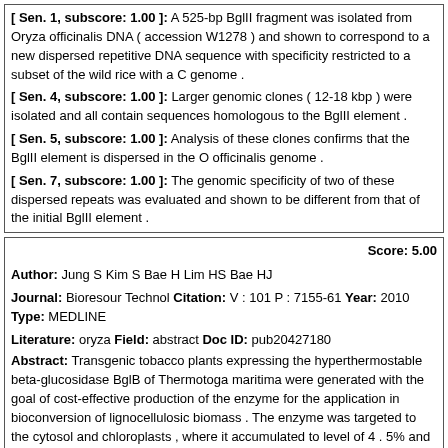[ Sen. 1, subscore: 1.00 ]: A 525-bp BglII fragment was isolated from Oryza officinalis DNA ( accession W1278 ) and shown to correspond to a new dispersed repetitive DNA sequence with specificity restricted to a subset of the wild rice with a C genome .
[ Sen. 4, subscore: 1.00 ]: Larger genomic clones ( 12-18 kbp ) were isolated and all contain sequences homologous to the BglII element .
[ Sen. 5, subscore: 1.00 ]: Analysis of these clones confirms that the BglII element is dispersed in the O officinalis genome .
[ Sen. 7, subscore: 1.00 ]: The genomic specificity of two of these dispersed repeats was evaluated and shown to be different from that of the initial BglII element .
Score: 5.00
Author: Jung S Kim S Bae H Lim HS Bae HJ
Journal: Bioresour Technol Citation: V : 101 P : 7155-61 Year: 2010 Type: MEDLINE
Literature: oryza Field: abstract Doc ID: pub20427180
Abstract: Transgenic tobacco plants expressing the hyperthermostable beta-glucosidase BglB of Thermotoga maritima were generated with the goal of cost-effective production of the enzyme for the application in bioconversion of lignocellulosic biomass . The enzyme was targeted to the cytosol and chloroplasts , where it accumulated to level of 4 . 5% and 5 . 8% of total soluble protein , respectively . The optimal temperature and pH of the plant-expressed BglB was 80 degrees C and 4 . 5 , respectively . BglB activity was preserved in leaves after lyophilization , but decreased by over 70% with drying at room temperature . When BglB was synergistically supplied in a 1% ( w/v ) rice straw with Cel5A for efficient cellulase conversion , a 37% increase in glucose was observed . This report demonstrates the potential of utilizing transgenic tobacco for